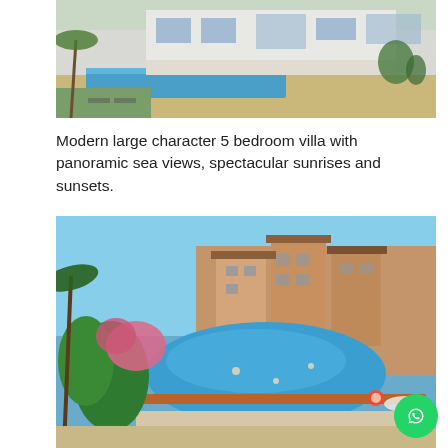[Figure (photo): Aerial/rear view of a modern white large villa with swimming pool, sun loungers, green lawn and garden, multiple glass doors and open terrace]
Modern large character 5 bedroom villa with panoramic sea views, spectacular sunrises and sunsets.
[Figure (photo): Outdoor communal swimming pool surrounded by Mediterranean vegetation, pink oleanders, with residential townhouses/apartments in the background under a clear blue sky]